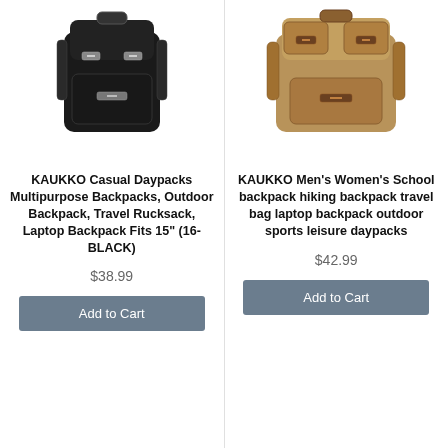[Figure (photo): Black KAUKKO casual daypack/backpack with leather buckle straps]
KAUKKO Casual Daypacks Multipurpose Backpacks, Outdoor Backpack, Travel Rucksack, Laptop Backpack Fits 15" (16-BLACK)
$38.99
Add to Cart
[Figure (photo): Tan/khaki KAUKKO men's women's school backpack with multiple pockets and buckle straps]
KAUKKO Men's Women's School backpack hiking backpack travel bag laptop backpack outdoor sports leisure daypacks
$42.99
Add to Cart